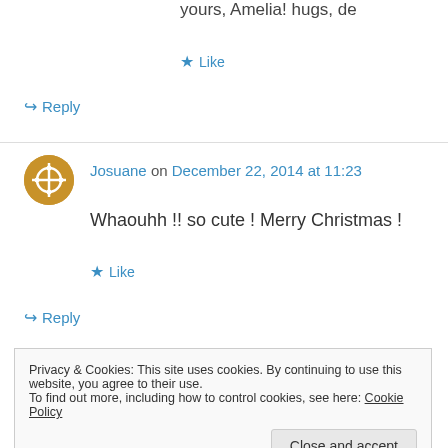yours, Amelia! hugs, de
★ Like
↪ Reply
Josuane on December 22, 2014 at 11:23
Whaouhh !! so cute ! Merry Christmas !
★ Like
↪ Reply
Privacy & Cookies: This site uses cookies. By continuing to use this website, you agree to their use. To find out more, including how to control cookies, see here: Cookie Policy
Close and accept
you need   you want